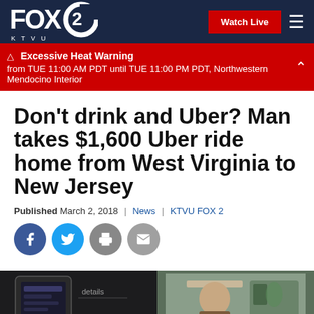FOX 2 KTVU — Watch Live navigation bar
⚠ Excessive Heat Warning from TUE 11:00 AM PDT until TUE 11:00 PM PDT, Northwestern Mendocino Interior
Don't drink and Uber? Man takes $1,600 Uber ride home from West Virginia to New Jersey
Published March 2, 2018 | News | KTVU FOX 2
[Figure (screenshot): Social sharing buttons: Facebook, Twitter, Print, Email]
[Figure (photo): Split video thumbnail: left shows a smartphone with Uber app, right shows a person being interviewed]